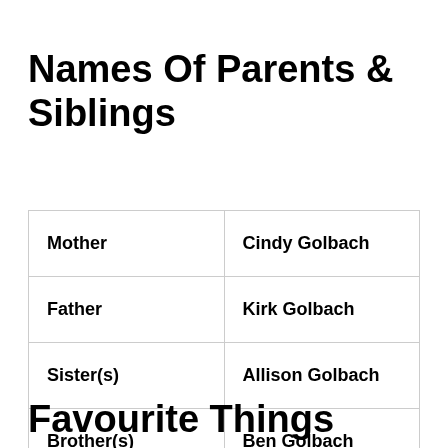Names Of Parents & Siblings
| Mother | Cindy Golbach |
| Father | Kirk Golbach |
| Sister(s) | Allison Golbach |
| Brother(s) | Ben Golbach |
Favourite Things